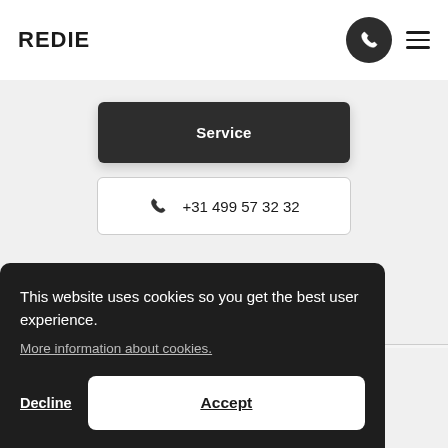REDIE
Service
+31 499 57 32 32
Follow us on Linkedin
Follow us on Instagram
This website uses cookies so you get the best user experience.
More information about cookies.
Decline
Accept
Navigate quickly
Our projects